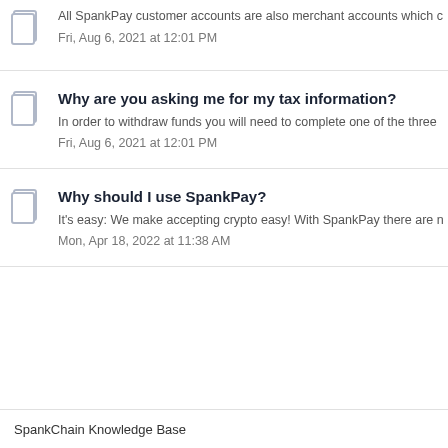All SpankPay customer accounts are also merchant accounts which c…
Fri, Aug 6, 2021 at 12:01 PM
Why are you asking me for my tax information?
In order to withdraw funds you will need to complete one of the three…
Fri, Aug 6, 2021 at 12:01 PM
Why should I use SpankPay?
It's easy: We make accepting crypto easy! With SpankPay there are n…
Mon, Apr 18, 2022 at 11:38 AM
SpankChain Knowledge Base